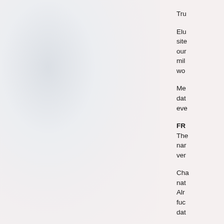Tru
Elu site our mil wo
Me dat eve
FR
The nar ver
Cha nat Alr fuc dat